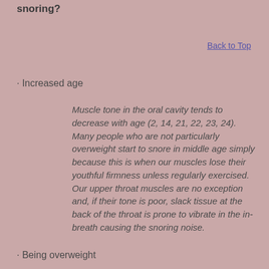snoring?
Back to Top
· Increased age
Muscle tone in the oral cavity tends to decrease with age (2, 14, 21, 22, 23, 24). Many people who are not particularly overweight start to snore in middle age simply because this is when our muscles lose their youthful firmness unless regularly exercised. Our upper throat muscles are no exception and, if their tone is poor, slack tissue at the back of the throat is prone to vibrate in the in-breath causing the snoring noise.
· Being overweight